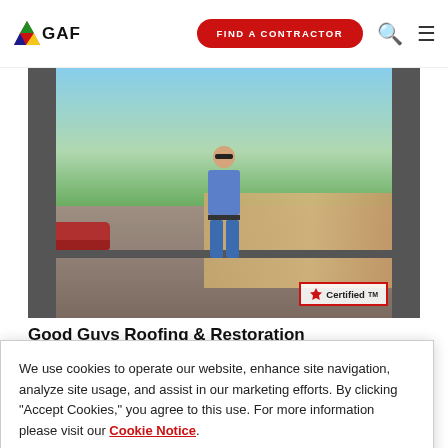GAF — FIND A CONTRACTOR
[Figure (photo): Man standing on rooftop with trees, car, and suburban neighborhood in background. Certified badge visible bottom-right.]
Good Guys Roofing & Restoration
We use cookies to operate our website, enhance site navigation, analyze site usage, and assist in our marketing efforts. By clicking "Accept Cookies," you agree to this use. For more information please visit our Cookie Notice.
Cookie Preferences   Accept Cookies